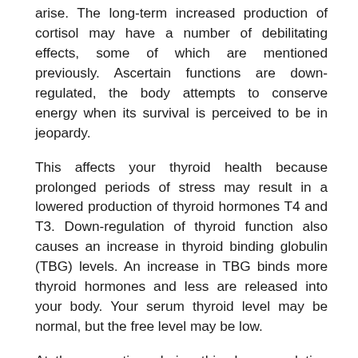arise. The long-term increased production of cortisol may have a number of debilitating effects, some of which are mentioned previously. Ascertain functions are down-regulated, the body attempts to conserve energy when its survival is perceived to be in jeopardy.
This affects your thyroid health because prolonged periods of stress may result in a lowered production of thyroid hormones T4 and T3. Down-regulation of thyroid function also causes an increase in thyroid binding globulin (TBG) levels. An increase in TBG binds more thyroid hormones and less are released into your body. Your serum thyroid level may be normal, but the free level may be low.
At the same time during this down-regulation process, some of your T4 is shunted to produce inactive reverse T3 (rT3). The rT3 opposes the function of T3 and acts as a braking mechanism. This braking mechanism is designed to further slow thyroid function in order to conserve energy in times of stress. Additionally, rT3 may actively inhibit T4 to T3 conversion, thereby further worsening T3 production.